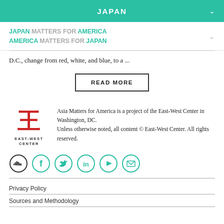JAPAN
JAPAN MATTERS FOR AMERICA
AMERICA MATTERS FOR JAPAN
D.C., change from red, white, and blue, to a ...
READ MORE
[Figure (logo): East-West Center logo with Chinese character and text EAST-WEST CENTER]
Asia Matters for America is a project of the East-West Center in Washington, DC.
Unless otherwise noted, all content © East-West Center. All rights reserved.
[Figure (infographic): Row of social media icons: SoundCloud, Facebook, Twitter, LinkedIn, YouTube, Email]
Privacy Policy
Sources and Methodology